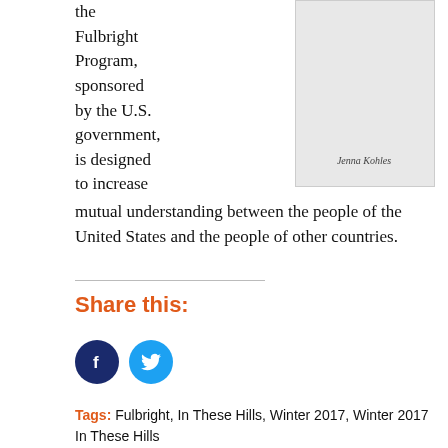the Fulbright Program, sponsored by the U.S. government, is designed to increase mutual understanding between the people of the United States and the people of other countries.
[Figure (photo): Photo placeholder with caption 'Jenna Kohles']
Jenna Kohles
Share this:
[Figure (logo): Facebook and Twitter social media icon buttons]
Tags: Fulbright, In These Hills, Winter 2017, Winter 2017 In These Hills